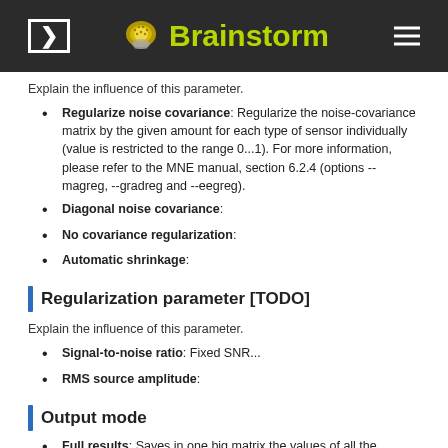Brainstorm
Explain the influence of this parameter.
Regularize noise covariance: Regularize the noise-covariance matrix by the given amount for each type of sensor individually (value is restricted to the range 0...1). For more information, please refer to the MNE manual, section 6.2.4 (options --magreg, --gradreg and --eegreg).
Diagonal noise covariance:
No covariance regularization:
Automatic shrinkage:
Regularization parameter [TODO]
Explain the influence of this parameter.
Signal-to-noise ratio: Fixed SNR...
RMS source amplitude:
Output mode
Full results: Saves in one big matrix the values of all the sources (15,000) for all the time samples (361). The size in memory of such a matrix is about 45Mb for 600ms of recordings. This is still reasonable, so you may use this option